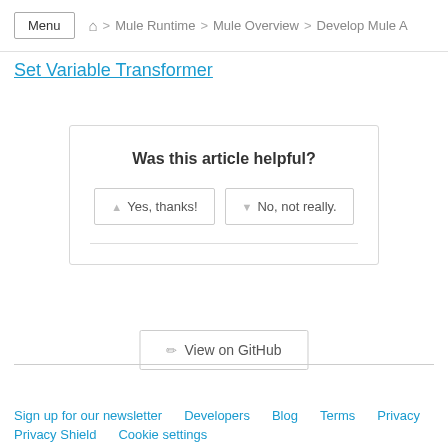Menu  🏠 > Mule Runtime > Mule Overview > Develop Mule A
Set Variable Transformer
Was this article helpful?
👍 Yes, thanks!    👎 No, not really.
✏ View on GitHub
Sign up for our newsletter   Developers   Blog   Terms   Privacy   Privacy Shield   Cookie settings